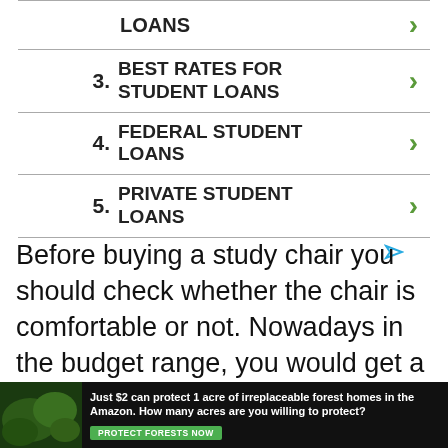LOANS
3. BEST RATES FOR STUDENT LOANS
4. FEDERAL STUDENT LOANS
5. PRIVATE STUDENT LOANS
Before buying a study chair you should check whether the chair is comfortable or not. Nowadays in the budget range, you would get a good comfortable chairs option.
Backrest Support
[Figure (infographic): Green advertisement banner: 'Just $2 can protect 1 acre of irreplaceable forest homes in the Amazon. How many acres are you willing to protect?' with a PROTECT FORESTS NOW button and a nature/leaf image on the left.]